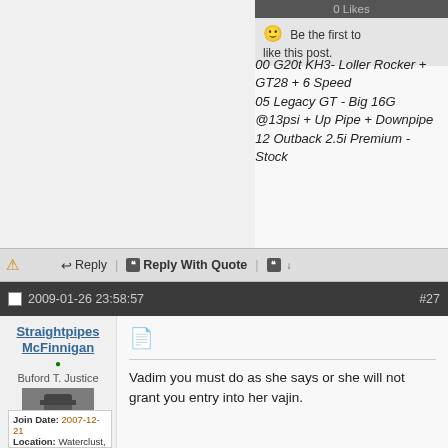0 Likes
Be the first to like this post.
00 G20t KH3- Loller Rocker + GT28 + 6 Speed
05 Legacy GT - Big 16G @13psi + Up Pipe + Downpipe
12 Outback 2.5i Premium - Stock
Reply | Reply With Quote
2009-01-26 23:58:57  #27
Straightpipes McFinnigan
Buford T. Justice
Vadim you must do as she says or she will not grant you entry into her vajin.
Join Date: 2007-12-21
Location: Waterclust, MI